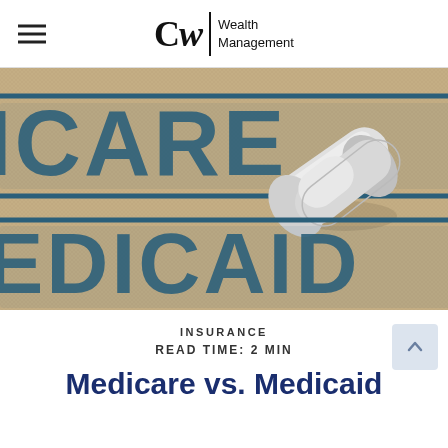CW | Wealth Management
[Figure (photo): Close-up photo of cardboard/textured surface with blue rubber stamp text reading 'MEDICARE' and 'MEDICAID', with a white pharmaceutical capsule/pill resting on the surface.]
INSURANCE
READ TIME: 2 MIN
Medicare vs. Medicaid